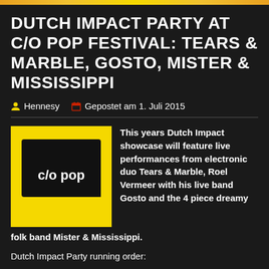(yellow bar)
DUTCH IMPACT PARTY AT C/O POP FESTIVAL: TEARS & MARBLE, GOSTO, MISTER & MISSISSIPPI
Hennesy   Gepostet am 1. Juli 2015
[Figure (logo): c/o pop festival logo — yellow background with black rounded-rectangle containing white text 'c/o pop']
This years Dutch Impact showcase will feature live performances from electronic duo Tears & Marble, Roel Vermeer with his live band Gosto and the 4 piece dreamy folk band Mister & Mississippi.
Dutch Impact Party running order: